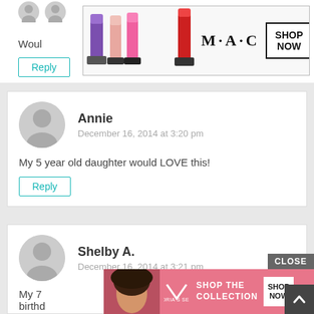[Figure (screenshot): Partial comment with 'Woul' text visible and MAC lipstick advertisement banner overlaid. Reply button visible.]
Annie
December 16, 2014 at 3:20 pm
My 5 year old daughter would LOVE this!
Reply
Shelby A.
December 16, 2014 at 3:21 pm
My 7 ... birthd...
[Figure (screenshot): Victoria's Secret advertisement banner with pink background, model photo, 'SHOP THE COLLECTION' text, 'SHOP NOW' button, and 'CLOSE' button.]